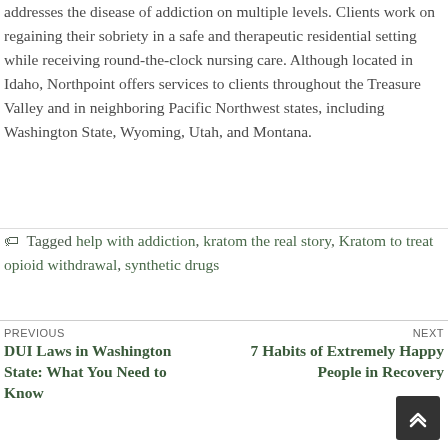addresses the disease of addiction on multiple levels. Clients work on regaining their sobriety in a safe and therapeutic residential setting while receiving round-the-clock nursing care. Although located in Idaho, Northpoint offers services to clients throughout the Treasure Valley and in neighboring Pacific Northwest states, including Washington State, Wyoming, Utah, and Montana.
Tagged help with addiction, kratom the real story, Kratom to treat opioid withdrawal, synthetic drugs
PREVIOUS DUI Laws in Washington State: What You Need to Know | NEXT 7 Habits of Extremely Happy People in Recovery